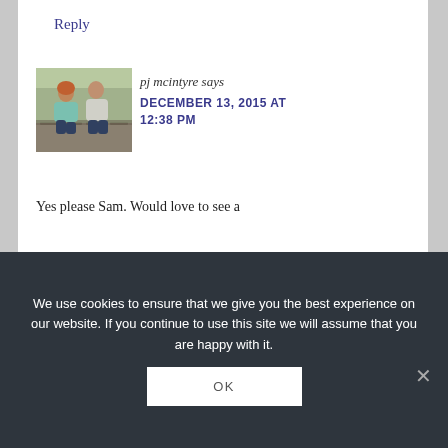Reply
[Figure (photo): Profile photo of a couple sitting on a stone wall outdoors]
pj mcintyre says
DECEMBER 13, 2015 AT 12:38 PM
Yes please Sam. Would love to see a
We use cookies to ensure that we give you the best experience on our website. If you continue to use this site we will assume that you are happy with it.
OK